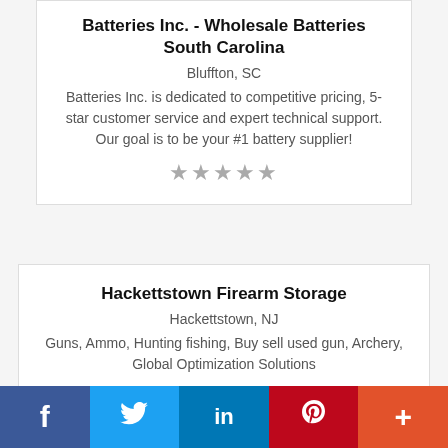Batteries Inc. - Wholesale Batteries South Carolina
Bluffton, SC
Batteries Inc. is dedicated to competitive pricing, 5-star customer service and expert technical support. Our goal is to be your #1 battery supplier!
[Figure (other): 5 star rating icons (grey outlined stars)]
Hackettstown Firearm Storage
Hackettstown, NJ
Guns, Ammo, Hunting fishing, Buy sell used gun, Archery, Global Optimization Solutions
[Figure (other): 5 star rating icons (grey outlined stars)]
f  (Twitter bird)  in  P  +